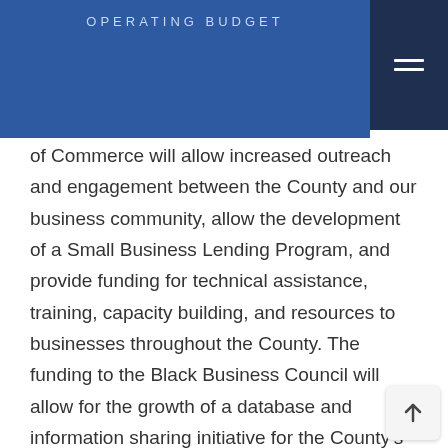OPERATING BUDGET
of Commerce will allow increased outreach and engagement between the County and our business community, allow the development of a Small Business Lending Program, and provide funding for technical assistance, training, capacity building, and resources to businesses throughout the County. The funding to the Black Business Council will allow for the growth of a database and information sharing initiative for the County's Minority, Female, and Disabled-owned Businesses Program.
Making sure that County residents have the skills needed to succeed in the 21st Century economy is